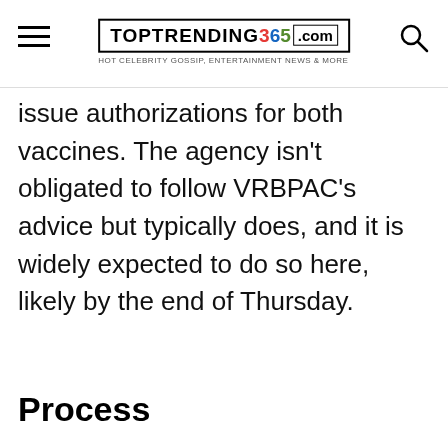TOPTRENDING365.COM
issue authorizations for both vaccines. The agency isn't obligated to follow VRBPAC's advice but typically does, and it is widely expected to do so here, likely by the end of Thursday.
Process
We use cookies on our website to give you the most relevant experience by remembering your preferences and repeat visits. By clicking “Accept All”, you consent to the use of ALL the cookies. However, you may visit “Cookie Settings” to provide a controlled consent.